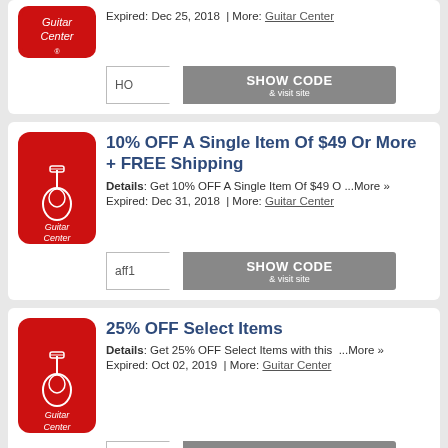[Figure (other): Partial Guitar Center coupon card (top cut off) with expiry Dec 25, 2018 and SHOW CODE button with code starting HO]
[Figure (other): Guitar Center coupon: 10% OFF A Single Item Of $49 Or More + FREE Shipping, expired Dec 31, 2018, code aff1]
[Figure (other): Guitar Center coupon: 25% OFF Select Items, expired Oct 02, 2019, code SU]